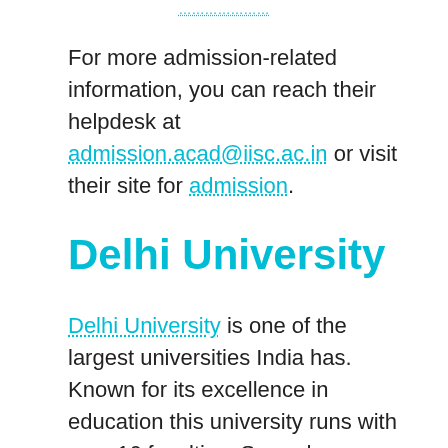…………………
For more admission-related information, you can reach their helpdesk at admission.acad@iisc.ac.in or visit their site for admission.
Delhi University
Delhi University is one of the largest universities India has. Known for its excellence in education this university runs with over 16 faculties. Spread across Delhi it is concentrated in North and South campuses. Even if you don't plan on enrolling do pay a visit to its north